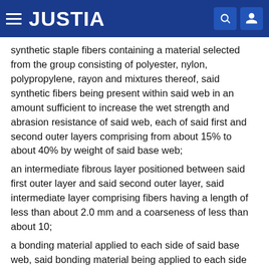JUSTIA
synthetic staple fibers containing a material selected from the group consisting of polyester, nylon, polypropylene, rayon and mixtures thereof, said synthetic fibers being present within said web in an amount sufficient to increase the wet strength and abrasion resistance of said web, each of said first and second outer layers comprising from about 15% to about 40% by weight of said base web;
an intermediate fibrous layer positioned between said first outer layer and said second outer layer, said intermediate layer comprising fibers having a length of less than about 2.0 mm and a coarseness of less than about 10;
a bonding material applied to each side of said base web, said bonding material being applied to each side according to a preselected pattern; and